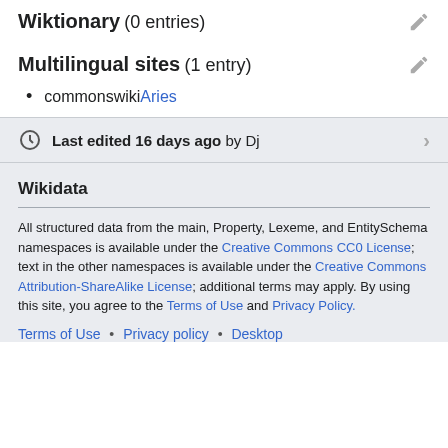Wiktionary (0 entries)
Multilingual sites (1 entry)
commonswiki Aries
Last edited 16 days ago by Dj
Wikidata
All structured data from the main, Property, Lexeme, and EntitySchema namespaces is available under the Creative Commons CC0 License; text in the other namespaces is available under the Creative Commons Attribution-ShareAlike License; additional terms may apply. By using this site, you agree to the Terms of Use and Privacy Policy.
Terms of Use • Privacy policy • Desktop